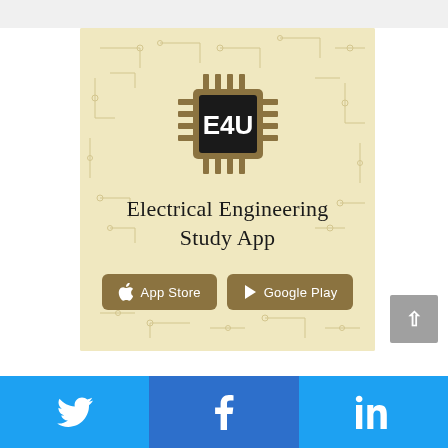[Figure (logo): Electrical Engineering Study App advertisement banner with E4U chip logo, circuit board background pattern, app title text, and App Store / Google Play download buttons]
[Figure (infographic): Social media share bar with Twitter (blue), Facebook (dark blue), and LinkedIn (blue) icons at the bottom of the page]